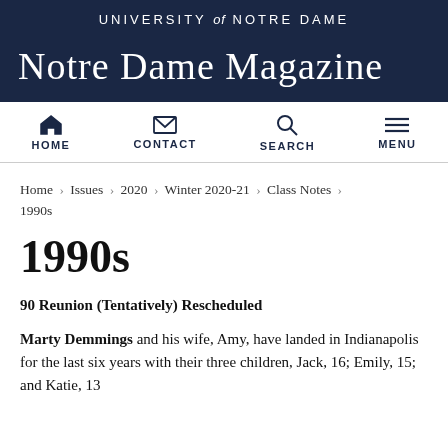UNIVERSITY of NOTRE DAME
Notre Dame Magazine
HOME   CONTACT   SEARCH   MENU
Home › Issues › 2020 › Winter 2020-21 › Class Notes › 1990s
1990s
90 Reunion (Tentatively) Rescheduled
Marty Demmings and his wife, Amy, have landed in Indianapolis for the last six years with their three children, Jack, 16; Emily, 15; and Katie, 13